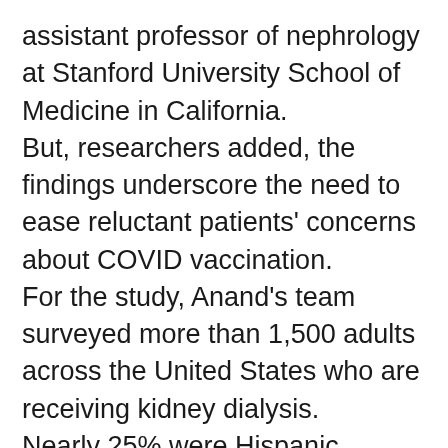assistant professor of nephrology at Stanford University School of Medicine in California. But, researchers added, the findings underscore the need to ease reluctant patients' concerns about COVID vaccination. For the study, Anand's team surveyed more than 1,500 adults across the United States who are receiving kidney dialysis. Nearly 25% were Hispanic patients and 30% were Black patients. More than half (56%) did not have a college degree. Participants were representative of the nation's overall dialysis population, the study authors said. They found that vaccine acceptance was lower among younger patients, women, Blacks, Native Americans and Pacific Islanders. Up to 30% of people in these groups expressed reservations about getting